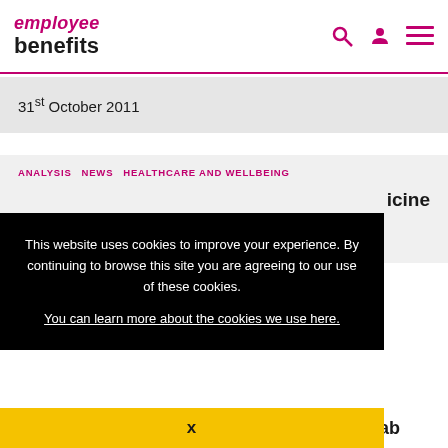employee benefits
31st October 2011
ANALYSIS  NEWS  HEALTHCARE AND WELLBEING
icine
This website uses cookies to improve your experience. By continuing to browse this site you are agreeing to our use of these cookies.
You can learn more about the cookies we use here.
x
Benefits. Employers may have to pick up tab